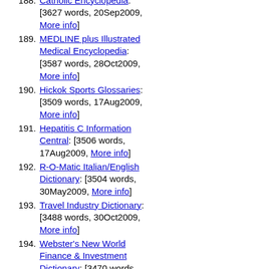(continuation) words, 20Oct2009, More info]
188. Catholic Encyclopedia: [3627 words, 20Sep2009, More info]
189. MEDLINE plus Illustrated Medical Encyclopedia: [3587 words, 28Oct2009, More info]
190. Hickok Sports Glossaries: [3509 words, 17Aug2009, More info]
191. Hepatitis C Information Central: [3506 words, 17Aug2009, More info]
192. R-O-Matic Italian/English Dictionary: [3504 words, 30May2009, More info]
193. Travel Industry Dictionary: [3488 words, 30Oct2009, More info]
194. Webster's New World Finance & Investment Dictionary: [3470 words, 15Sep2008, More info]